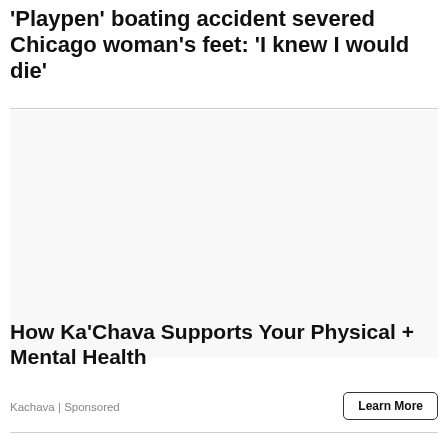'Playpen' boating accident severed Chicago woman's feet: 'I knew I would die'
[Figure (other): Advertisement/image area (blank placeholder)]
How Ka'Chava Supports Your Physical + Mental Health
Kachava | Sponsored